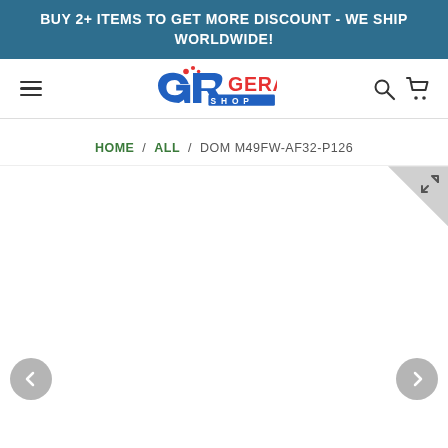BUY 2+ ITEMS TO GET MORE DISCOUNT - WE SHIP WORLDWIDE!
[Figure (logo): GERA SHOP logo with stylized GR letters and bubbles, in blue and red]
HOME / ALL / DOM M49FW-AF32-P126
[Figure (other): Product image area - white/empty product viewer with expand icon in top-right corner, and previous/next navigation arrows at bottom]